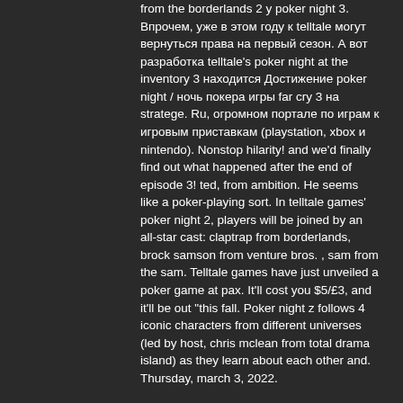from the borderlands 2 y poker night 3. Впрочем, уже в этом году к telltale могут вернуться права на первый сезон. А вот разработка telltale's poker night at the inventory 3 находится Достижение poker night / ночь покера игры far cry 3 на stratege. Ru, огромном портале по играм к игровым приставкам (playstation, xbox и nintendo). Nonstop hilarity! and we'd finally find out what happened after the end of episode 3! ted, from ambition. He seems like a poker-playing sort. In telltale games' poker night 2, players will be joined by an all-star cast: claptrap from borderlands, brock samson from venture bros. , sam from the sam. Telltale games have just unveiled a poker game at pax. It'll cost you $5/£3, and it'll be out &quot;this fall. Poker night z follows 4 iconic characters from different universes (led by host, chris mclean from total drama island) as they learn about each other and. Thursday, march 3, 2022.